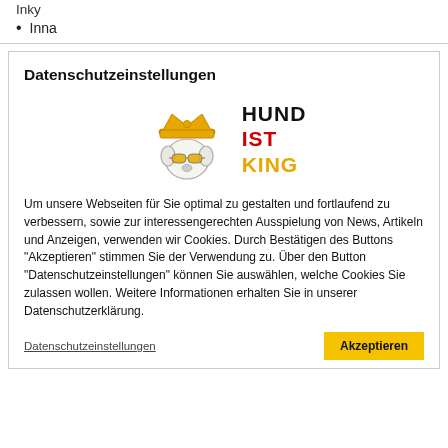Inky
Inna
Datenschutzeinstellungen
[Figure (logo): Hund ist King logo: cartoon dog with crown and sunglasses, with bold text HUND IST KING]
Um unsere Webseiten für Sie optimal zu gestalten und fortlaufend zu verbessern, sowie zur interessengerechten Ausspielung von News, Artikeln und Anzeigen, verwenden wir Cookies. Durch Bestätigen des Buttons "Akzeptieren" stimmen Sie der Verwendung zu. Über den Button "Datenschutzeinstellungen" können Sie auswählen, welche Cookies Sie zulassen wollen. Weitere Informationen erhalten Sie in unserer Datenschutzerklärung.
Datenschutzeinstellungen
Akzeptieren